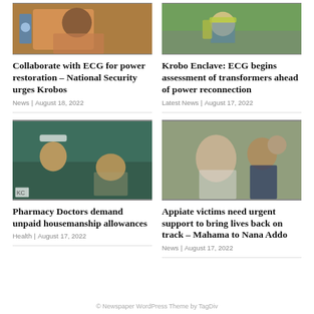[Figure (photo): Man in colorful patterned shirt seated]
[Figure (photo): Construction worker in yellow vest and helmet at fence]
Collaborate with ECG for power restoration – National Security urges Krobos
News | August 18, 2022
Krobo Enclave: ECG begins assessment of transformers ahead of power reconnection
Latest News | August 17, 2022
[Figure (photo): Medical professional taking patient's blood pressure in a clinic]
[Figure (photo): Two men in formal attire conversing, with security personnel in background]
Pharmacy Doctors demand unpaid housemanship allowances
Health | August 17, 2022
Appiate victims need urgent support to bring lives back on track – Mahama to Nana Addo
News | August 17, 2022
© Newspaper WordPress Theme by TagDiv